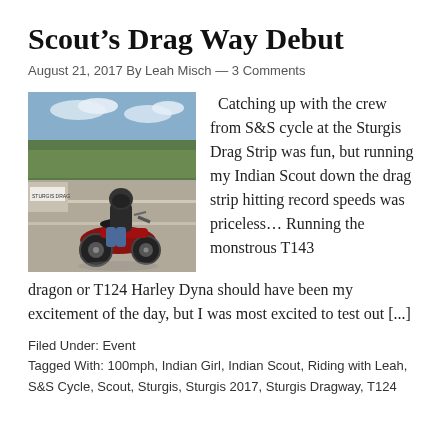Scout's Drag Way Debut
August 21, 2017 By Leah Misch — 3 Comments
[Figure (photo): Rider on a red Indian Scout motorcycle at the Sturgis Drag Strip, sunny day with trees and track in background]
Catching up with the crew from S&S cycle at the Sturgis Drag Strip was fun, but running my Indian Scout down the drag strip hitting record speeds was priceless… Running the monstrous T143 dragon or T124 Harley Dyna should have been my excitement of the day, but I was most excited to test out [...]
Filed Under: Event
Tagged With: 100mph, Indian Girl, Indian Scout, Riding with Leah, S&S Cycle, Scout, Sturgis, Sturgis 2017, Sturgis Dragway, T124